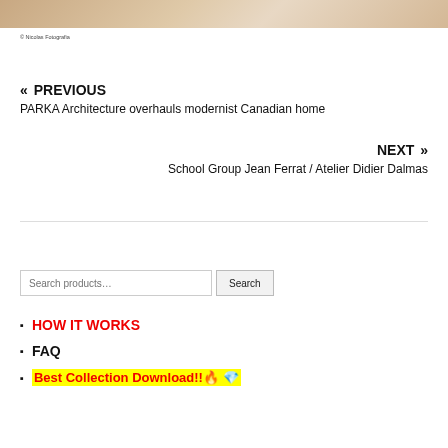[Figure (photo): Partial view of a room/interior photo strip at top of page]
© Nicolas Fotografia
« PREVIOUS
PARKA Architecture overhauls modernist Canadian home
NEXT »
School Group Jean Ferrat / Atelier Didier Dalmas
Search products…  Search
HOW IT WORKS
FAQ
Best Collection Download!! 🔥 💎